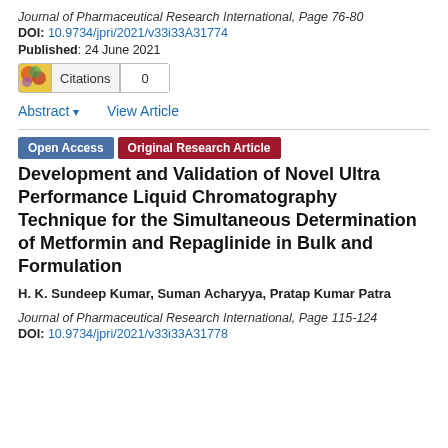Journal of Pharmaceutical Research International, Page 76-80
DOI: 10.9734/jpri/2021/v33i33A31774
Published: 24 June 2021
Citations 0
Abstract ▾    View Article
Open Access   Original Research Article
Development and Validation of Novel Ultra Performance Liquid Chromatography Technique for the Simultaneous Determination of Metformin and Repaglinide in Bulk and Formulation
H. K. Sundeep Kumar, Suman Acharyya, Pratap Kumar Patra
Journal of Pharmaceutical Research International, Page 115-124
DOI: 10.9734/jpri/2021/v33i33A31778